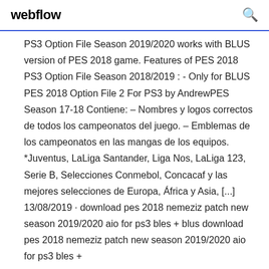webflow
PS3 Option File Season 2019/2020 works with BLUS version of PES 2018 game. Features of PES 2018 PS3 Option File Season 2018/2019 : - Only for BLUS PES 2018 Option File 2 For PS3 by AndrewPES Season 17-18 Contiene: – Nombres y logos correctos de todos los campeonatos del juego. – Emblemas de los campeonatos en las mangas de los equipos. *Juventus, LaLiga Santander, Liga Nos, LaLiga 123, Serie B, Selecciones Conmebol, Concacaf y las mejores selecciones de Europa, África y Asia, [...] 13/08/2019 · download pes 2018 nemeziz patch new season 2019/2020 aio for ps3 bles + blus download pes 2018 nemeziz patch new season 2019/2020 aio for ps3 bles +